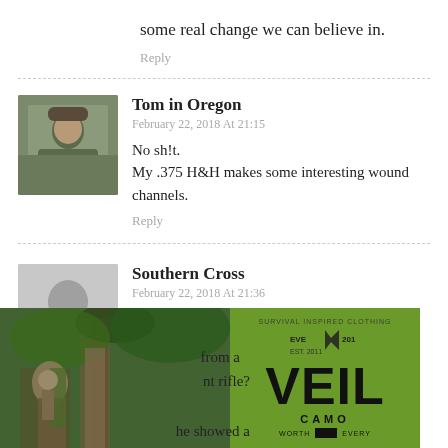some real change we can believe in.
Reply
Tom in Oregon
February 22, 2018 At 21:15
No sh!t.
My .375 H&H makes some interesting wound channels.
Reply
Southern Cross
February 22, 2018 At 21:36
If the wounds from an AR15 are so
[Figure (photo): Person in camouflage climbing a tree in a forest, overlaid with a green VEIL CAMO advertisement logo]
from a
nt rifle?
he showed a